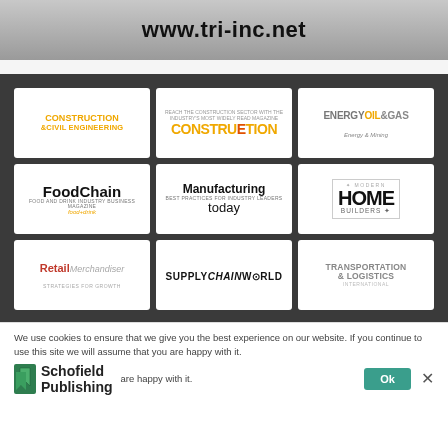[Figure (screenshot): Top banner with URL www.tri-inc.net on a grey construction-themed background]
[Figure (screenshot): Grid of 9 publication logos on dark background: Construction & Civil Engineering, Construction, Energy Oil & Gas, FoodChain, Manufacturing Today, Modern Home Builders, Retail Merchandiser, Supply Chain World, Transportation & Logistics]
We use cookies to ensure that we give you the best experience on our website. If you continue to use this site we will assume that you are happy with it.
[Figure (logo): Schofield Publishing logo - green bookmark icon with text Schofield Publishing]
Ok